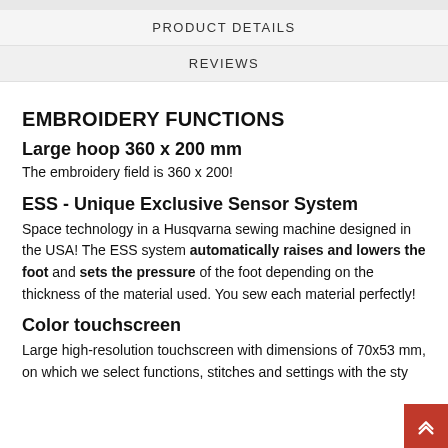PRODUCT DETAILS
REVIEWS
EMBROIDERY FUNCTIONS
Large hoop 360 x 200 mm
The embroidery field is 360 x 200!
ESS - Unique Exclusive Sensor System
Space technology in a Husqvarna sewing machine designed in the USA! The ESS system automatically raises and lowers the foot and sets the pressure of the foot depending on the thickness of the material used. You sew each material perfectly!
Color touchscreen
Large high-resolution touchscreen with dimensions of 70x53 mm, on which we select functions, stitches and settings with the sty